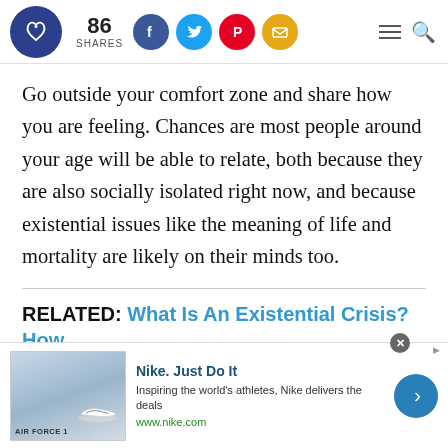86 SHARES [social icons: Facebook, Twitter, Pinterest, Email] [hamburger menu] [search]
Go outside your comfort zone and share how you are feeling. Chances are most people around your age will be able to relate, both because they are also socially isolated right now, and because existential issues like the meaning of life and mortality are likely on their minds too.
RELATED: What Is An Existential Crisis? How
[Figure (other): Advertisement banner for Nike. Just Do It — showing Nike shoe image, text 'Inspiring the world's athletes, Nike delivers the deals', URL www.nike.com, and a blue arrow button.]